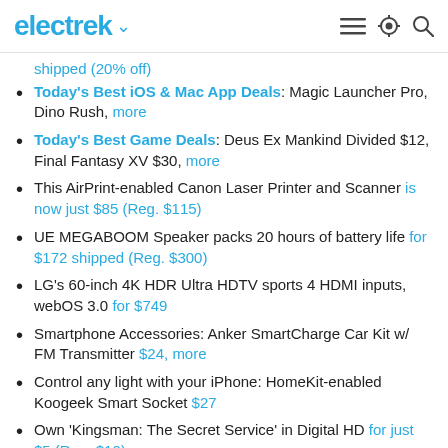electrek
shipped (20% off)
Today's Best iOS & Mac App Deals: Magic Launcher Pro, Dino Rush, more
Today's Best Game Deals: Deus Ex Mankind Divided $12, Final Fantasy XV $30, more
This AirPrint-enabled Canon Laser Printer and Scanner is now just $85 (Reg. $115)
UE MEGABOOM Speaker packs 20 hours of battery life for $172 shipped (Reg. $300)
LG's 60-inch 4K HDR Ultra HDTV sports 4 HDMI inputs, webOS 3.0 for $749
Smartphone Accessories: Anker SmartCharge Car Kit w/ FM Transmitter $24, more
Control any light with your iPhone: HomeKit-enabled Koogeek Smart Socket $27
Own 'Kingsman: The Secret Service' in Digital HD for just $5 (Reg. $10)
Steve Madden Best Dressed Event: 40% off heels, dress